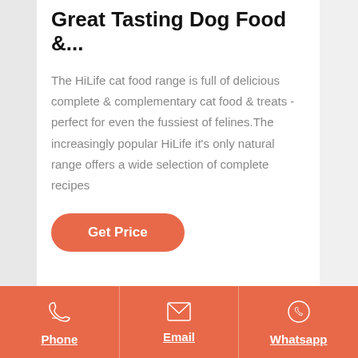Great Tasting Dog Food &...
The HiLife cat food range is full of delicious complete & complementary cat food & treats - perfect for even the fussiest of felines.The increasingly popular HiLife it's only natural range offers a wide selection of complete recipes
Get Price
Phone | Email | Whatsapp